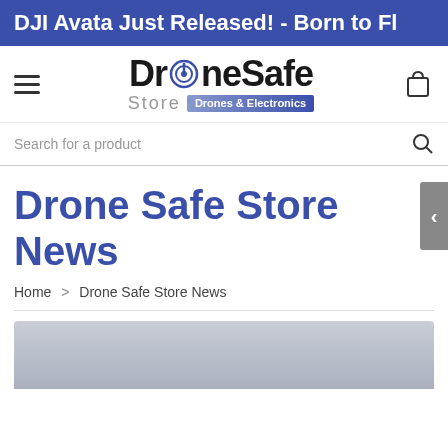DJI Avata Just Released! - Born to Fl
[Figure (logo): DroneSafe Store logo with power button icon and 'Drones & Electronics' tagline banner]
Search for a product
Drone Safe Store News
Home > Drone Safe Store News
[Figure (photo): Partial image preview at bottom of page, light grey sky background]